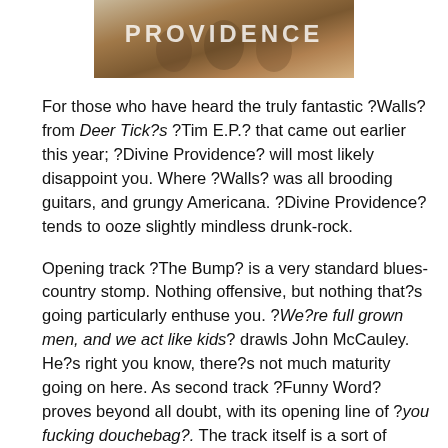[Figure (photo): Album cover image showing 'PROVIDENCE' text overlaid on a photo of people, in warm brownish tones]
For those who have heard the truly fantastic ?Walls? from Deer Tick?s ?Tim E.P.? that came out earlier this year; ?Divine Providence? will most likely disappoint you. Where ?Walls? was all brooding guitars, and grungy Americana. ?Divine Providence? tends to ooze slightly mindless drunk-rock.
Opening track ?The Bump? is a very standard blues-country stomp. Nothing offensive, but nothing that?s going particularly enthuse you. ?We?re full grown men, and we act like kids? drawls John McCauley. He?s right you know, there?s not much maturity going on here. As second track ?Funny Word? proves beyond all doubt, with its opening line of ?you fucking douchebag?. The track itself is a sort of dumbass-David Bowie does Springsteen. In all fairness though, it?s unavoidably likeable.
Then it all goes tits up. ?Let?s All Go To The Bar? is dumb. I?ve got no issue with music that doesn?t require too much thought.